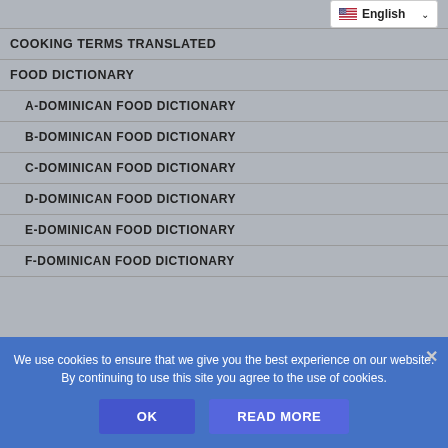COOKING TERMS TRANSLATED
FOOD DICTIONARY
A-DOMINICAN FOOD DICTIONARY
B-DOMINICAN FOOD DICTIONARY
C-DOMINICAN FOOD DICTIONARY
D-DOMINICAN FOOD DICTIONARY
E-DOMINICAN FOOD DICTIONARY
F-DOMINICAN FOOD DICTIONARY
We use cookies to ensure that we give you the best experience on our website. By continuing to use this site you agree to the use of cookies.